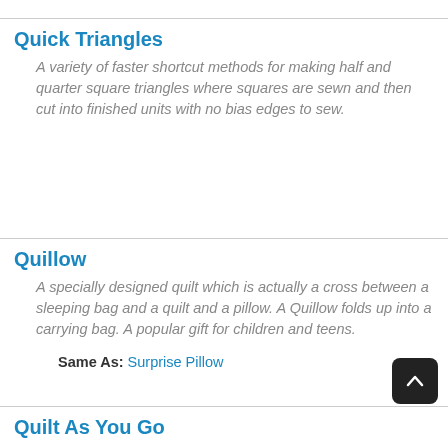Quick Triangles
A variety of faster shortcut methods for making half and quarter square triangles where squares are sewn and then cut into finished units with no bias edges to sew.
Quillow
A specially designed quilt which is actually a cross between a sleeping bag and a quilt and a pillow. A Quillow folds up into a carrying bag. A popular gift for children and teens.
Same As: Surprise Pillow
Quilt As You Go